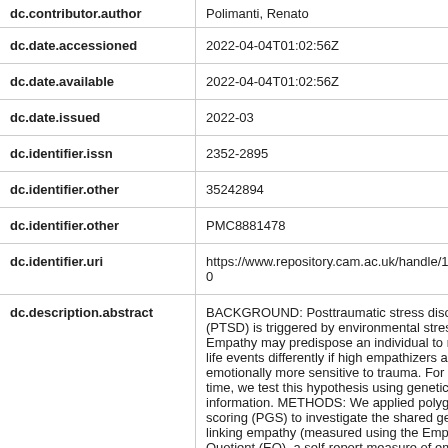| Field | Value |
| --- | --- |
| dc.contributor.author | Polimanti, Renato |
| dc.date.accessioned | 2022-04-04T01:02:56Z |
| dc.date.available | 2022-04-04T01:02:56Z |
| dc.date.issued | 2022-03 |
| dc.identifier.issn | 2352-2895 |
| dc.identifier.other | 35242894 |
| dc.identifier.other | PMC8881478 |
| dc.identifier.uri | https://www.repository.cam.ac.uk/handle/181…0 |
| dc.description.abstract | BACKGROUND: Posttraumatic stress disord (PTSD) is triggered by environmental stresso Empathy may predispose an individual to res life events differently if high empathizers are emotionally more sensitive to trauma. For the time, we test this hypothesis using genetic information. METHODS: We applied polygen scoring (PGS) to investigate the shared gene linking empathy (measured using the Empath Quotient (EQ), a self-report measure of emp… |